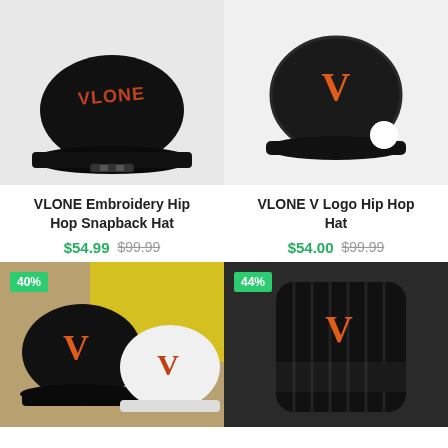[Figure (photo): Black VLONE Embroidery Hip Hop Snapback Hat, rear view showing VLONE logo embroidery, on light gray background]
[Figure (photo): Black VLONE V Logo Hip Hop Hat with orange V logo, top-down view on light background with white circle tag]
VLONE Embroidery Hip Hop Snapback Hat
$54.99  $99.99
VLONE V Logo Hip Hop Hat
$54.00  $99.99
[Figure (photo): Two VLONE V Logo hats (one black, one white) with orange V logo, 40% discount badge]
[Figure (photo): Black VLONE beanie with orange V logo, 44% discount badge]